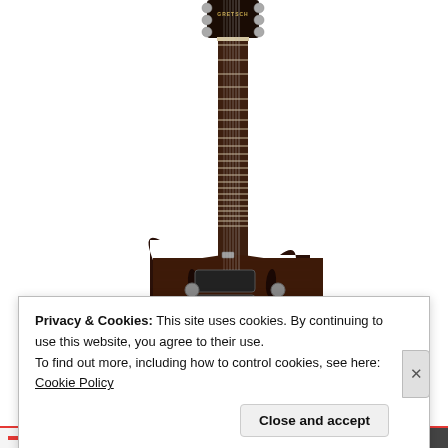[Figure (photo): A Gretsch electric guitar photographed against a white background. The guitar has a dark walnut/brown hollow body with a long fretted neck and headstock with GRETSCH branding visible. Only the upper portion of the body is visible; the image is cropped. The guitar has chrome tuning pegs and visible fret markers.]
Privacy & Cookies: This site uses cookies. By continuing to use this website, you agree to their use.
To find out more, including how to control cookies, see here: Cookie Policy
Close and accept